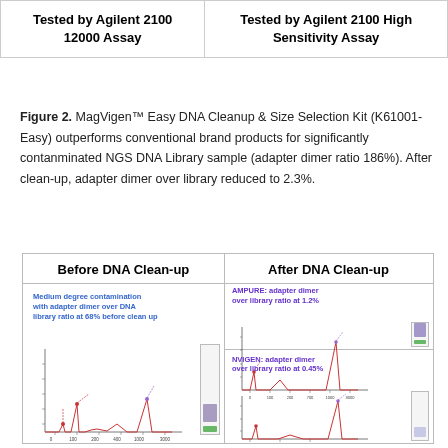| Tested by Agilent 2100 12000 Assay | Tested by Agilent 2100 High Sensitivity Assay |
| --- | --- |
Figure 2. MagVigen™ Easy DNA Cleanup & Size Selection Kit (K61001-Easy) outperforms conventional brand products for significantly contanminated NGS DNA Library sample (adapter dimer ratio 186%). After clean-up, adapter dimer over library reduced to 2.3%.
[Figure (continuous-plot): Two-panel comparison figure. Left panel: 'Before DNA Clean-up' showing Agilent 2100 electropherogram with annotation 'Medium degree contamination with adapter dimer over DNA library ratio at 68% before clean up' — two peaks visible plus a tall right peak, with a gel lane image. Right panel: 'After DNA Clean-up' with two sub-panels: top shows AMPURE result with annotation 'AMPURE: adapter dimer over library ratio at 1.2%' and a gel lane; bottom shows NVIGEN result with annotation 'NVIGEN: adapter dimer over library ratio at 0.45%' and partial gel lane visible.]